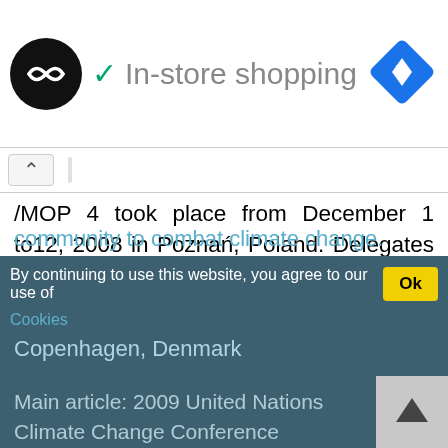[Figure (screenshot): Screenshot of a web browser UI showing an in-store shopping header with a logo, checkmark, text, and navigation diamond icon]
/MOP 4 took place from December 1 to12, 2008 in Poznań, Poland. Delegates agreed on principles for the financing of a fund to help the poorest nations cope with the effects of climate change and they approved a mechanism to incorporate forest protection into the efforts of the international community to combat climate change.
By continuing to use this website, you agree to our use of Ok Cookies
Copenhagen, Denmark
Main article: 2009 United Nations Climate Change Conference